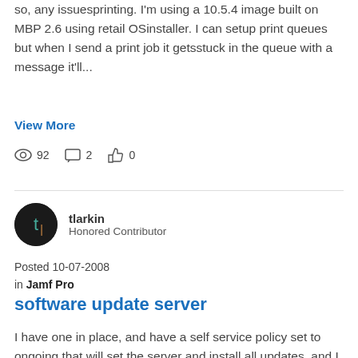so, any issuesprinting. I'm using a 10.5.4 image built on MBP 2.6 using retail OSinstaller. I can setup print queues but when I send a print job it getsstuck in the queue with a message it'll...
View More
92  2  0
tlarkin
Honored Contributor
Posted 10-07-2008
in Jamf Pro
software update server
I have one in place, and have a self service policy set to ongoing that will set the server and install all updates, and I